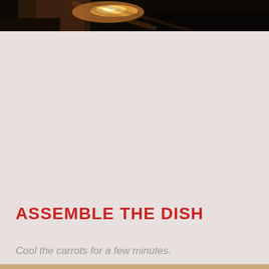[Figure (photo): Dark cooking scene showing what appears to be a pan or cooking surface with warm golden-orange light glinting off metal, dark background]
ASSEMBLE THE DISH
Cool the carrots for a few minutes.